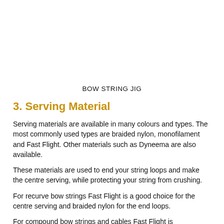BOW STRING JIG
3. Serving Material
Serving materials are available in many colours and types. The most commonly used types are braided nylon, monofilament and Fast Flight. Other materials such as Dyneema are also available.
These materials are used to end your string loops and make the centre serving, while protecting your string from crushing.
For recurve bow strings Fast Flight is a good choice for the centre serving and braided nylon for the end loops.
For compound bow strings and cables Fast Flight is recommended for wheel wrap around end loops and centre serving. Monofilament